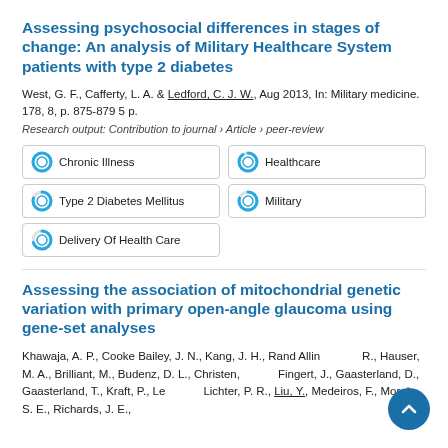Assessing psychosocial differences in stages of change: An analysis of Military Healthcare System patients with type 2 diabetes
West, G. F., Cafferty, L. A. & Ledford, C. J. W., Aug 2013, In: Military medicine. 178, 8, p. 875-879 5 p.
Research output: Contribution to journal › Article › peer-review
[Figure (infographic): Five keyword/topic badges: Chronic Illness (100%), Healthcare (90%), Type 2 Diabetes Mellitus (80%), Military (80%), Delivery Of Health Care (70%), each shown with a circular donut-style percentage indicator]
Assessing the association of mitochondrial genetic variation with primary open-angle glaucoma using gene-set analyses
Khawaja, A. P., Cooke Bailey, J. N., Kang, J. H., Rand Allingham, R., Hauser, M. A., Brilliant, M., Budenz, D. L., Christen, W., Fingert, J., Gaasterland, D., Gaasterland, T., Kraft, P., Lee, R., Lichter, P. R., Liu, Y., Medeiros, F., Moroi, S. E., Richards, J. E.,